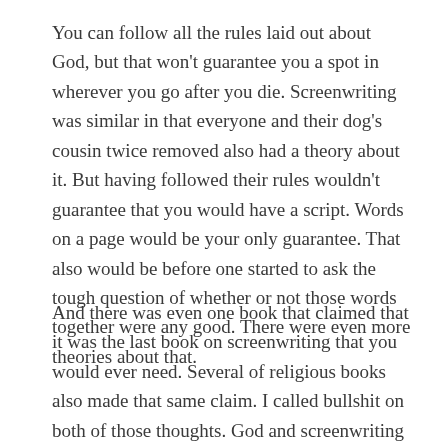You can follow all the rules laid out about God, but that won't guarantee you a spot in wherever you go after you die. Screenwriting was similar in that everyone and their dog's cousin twice removed also had a theory about it. But having followed their rules wouldn't guarantee that you would have a script. Words on a page would be your only guarantee. That also would be before one started to ask the tough question of whether or not those words together were any good. There were even more theories about that.
And there was even one book that claimed that it was the last book on screenwriting that you would ever need. Several of religious books also made that same claim. I called bullshit on both of those thoughts. God and screenwriting have evolved along with the human race and its understanding of how everything has changed while